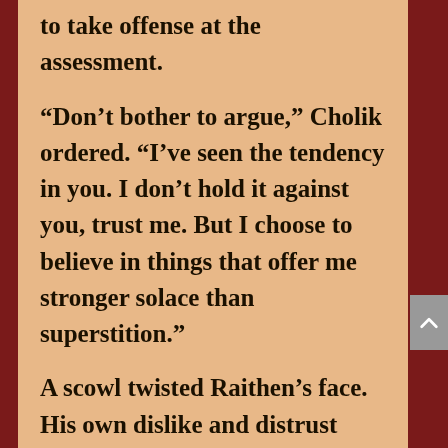to take offense at the assessment.
“Don’t bother to argue,” Cholik ordered. “I’ve seen the tendency in you. I don’t hold it against you, trust me. But I choose to believe in things that offer me stronger solace than superstition.”
A scowl twisted Raithen’s face. His own dislike and distrust concerning what Cholik’s acolytes did in the lower regions of the town they’d found buried beneath the abandoned port city were well known. The site was far to the north of Westmarch, well out of the king’s easy reach. As desolate as the place was, Cholik would have thought the pirate captain